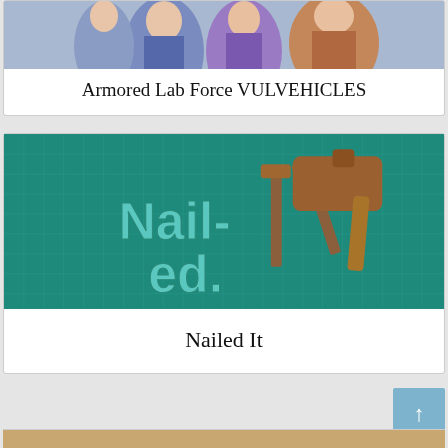[Figure (illustration): Anime-style illustration of armored characters in blue uniforms]
Armored Lab Force VULVEHICLES
[Figure (logo): Teal grid background with 'Nail-ed.' text logo and cartoon hammer/nails graphic]
Nailed It
[Figure (photo): Partial image of third card at bottom, tan/brown background]